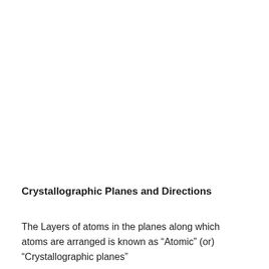Crystallographic Planes and Directions
The Layers of atoms in the planes along which atoms are arranged is known as “Atomic” (or) “Crystallographic planes”